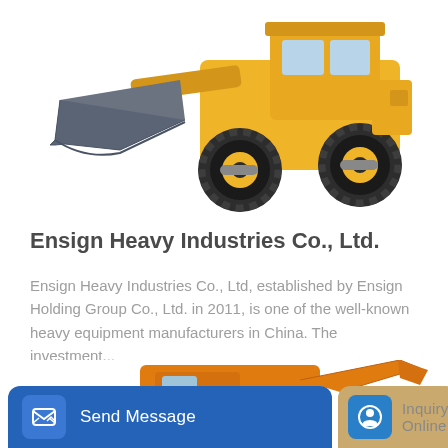[Figure (photo): A yellow and black front loader / wheel loader construction machine with a large gray bucket, photographed on a white background, top portion visible.]
Ensign Heavy Industries Co., Ltd.
Ensign Heavy Industries Co., Ltd, established by Ensign Holding Group Co., Ltd. in 2011, is one of the well-known heavy equipment manufacturers in China. The investment...
[Figure (other): Blue 'Learn More' button]
[Figure (photo): An orange excavator (SDLG brand) partially visible at the bottom of the page.]
[Figure (other): Bottom navigation bar with 'Send Message' button (blue) and 'Inquiry Online' button (tan/gold).]